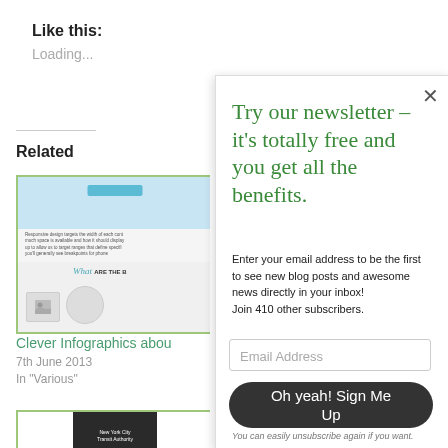Like this:
Loading...
Related
[Figure (screenshot): Thumbnail image of an infographic about responsive design, showing a webpage layout with text and icons.]
Clever Infographics abou
7th June 2013
In "Various"
[Figure (photo): Thumbnail of a New York City Transit Authority book cover.]
Try our newsletter – it's totally free and you get all the benefits.
Enter your email address to be the first to see new blog posts and awesome news directly in your inbox!
Join 410 other subscribers.
Email Address
Oh yeah! Sign Me Up
You can easily unsubscribe again if you want.